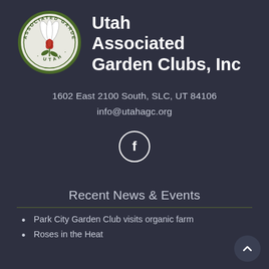[Figure (logo): Utah Associated Garden Clubs circular logo with flower illustration and text around the border]
Utah Associated Garden Clubs, Inc
1602 East 2100 South, SLC, UT 84106
info@utahagc.org
[Figure (illustration): Facebook social media icon — white letter f inside a white circle outline]
Recent News & Events
Park City Garden Club visits organic farm
Roses in the Heat